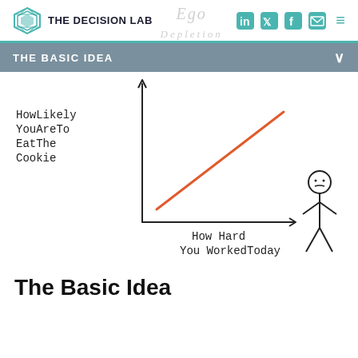THE DECISION LAB
THE BASIC IDEA
[Figure (illustration): Hand-drawn style graph with y-axis labeled 'How Likely You Are To Eat The Cookie' and x-axis labeled 'How Hard You Worked Today'. An orange diagonal line goes from lower-left to upper-right showing positive correlation. A stick figure stands to the right of the chart.]
The Basic Idea